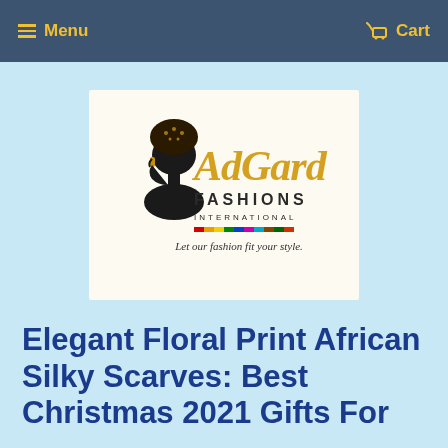Menu  Cart
[Figure (logo): AdGard Fashions International logo — silhouette of a woman with a decorated headwrap, gold script text 'AdGard', serif text 'FASHIONS INTERNATIONAL', colorful stripe bar, tagline 'Let our fashion fit your style.']
Elegant Floral Print African Silky Scarves: Best Christmas 2021 Gifts For